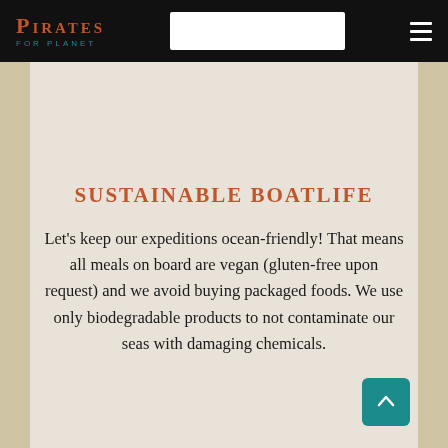Pirates for Planet — navigation bar with logo and menu
SUSTAINABLE BOATLIFE
Let's keep our expeditions ocean-friendly! That means all meals on board are vegan (gluten-free upon request) and we avoid buying packaged foods. We use only biodegradable products to not contaminate our seas with damaging chemicals.